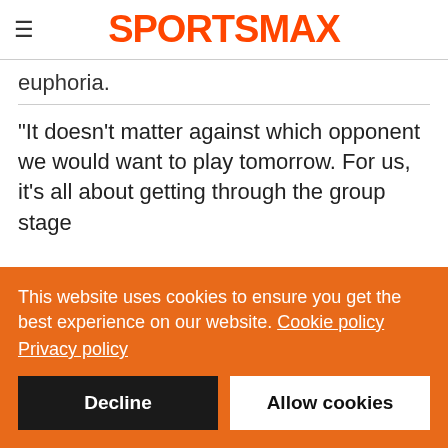SPORTSMAX
euphoria.
"It doesn't matter against which opponent we would want to play tomorrow. For us, it's all about getting through the group stage
This website uses cookies to ensure you get the best experience on our website. Cookie policy Privacy policy
Decline
Allow cookies